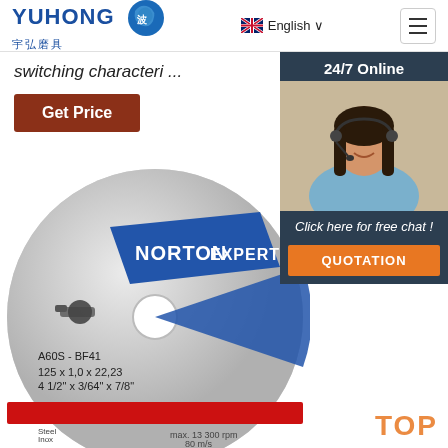YUHONG 宇弘磨具 | English | Navigation
switching characteri ...
Get Price
[Figure (screenshot): Chat widget showing '24/7 Online' with woman wearing headset, 'Click here for free chat!' text, and QUOTATION button]
[Figure (photo): Norton Expert cutting disc/wheel showing A60S-BF41, 125x1.0x22.23 (4 1/2 x 3/64 x 7/8), max 13300 rpm 80 m/s, with angle grinder pictogram and red stripe]
TOP